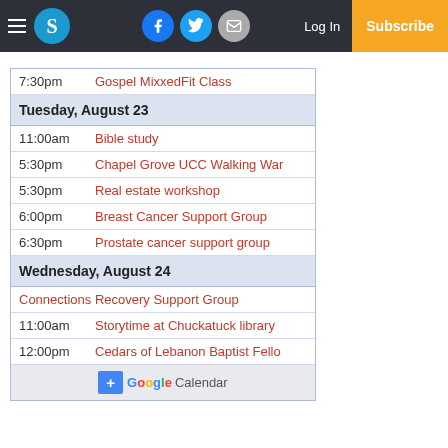S | Facebook | Twitter | Email | Log In | Subscribe
| Time | Event |
| --- | --- |
| 7:30pm | Gospel MixxedFit Class |
| Tuesday, August 23 |  |
| 11:00am | Bible study |
| 5:30pm | Chapel Grove UCC Walking War |
| 5:30pm | Real estate workshop |
| 6:00pm | Breast Cancer Support Group |
| 6:30pm | Prostate cancer support group |
| Wednesday, August 24 |  |
|  | Connections Recovery Support Group |
| 11:00am | Storytime at Chuckatuck library |
| 12:00pm | Cedars of Lebanon Baptist Fello |
+ Google Calendar